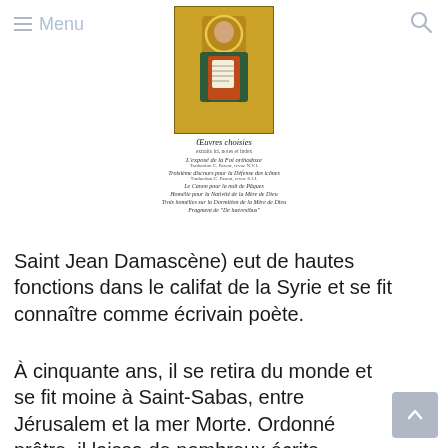Menu
[Figure (illustration): Cover of a religious book featuring an icon of Saint Jean Damascene (a saint holding a scroll, dressed in robes, on a golden background), with the title 'Œuvres choisies' and a list of contents including: L'exposé de la Foi orthodoxe, Troisième discours pour la Défense des icônes, Le Canon pour la nuit de Pâques, Homélie pour la Nativité de la Mère de Dieu, Trois homélies sur la Dormition de la Mère de Dieu, Fragment de 'De haeresibus']
Saint Jean Damascène) eut de hautes fonctions dans le califat de la Syrie et se fit connaître comme écrivain poète.
À cinquante ans, il se retira du monde et se fit moine à Saint-Sabas, entre Jérusalem et la mer Morte. Ordonné prêtre, il laissa de nombreux écrits théologiques. Il développa le culte des saintes icônes et chanta les louanges de